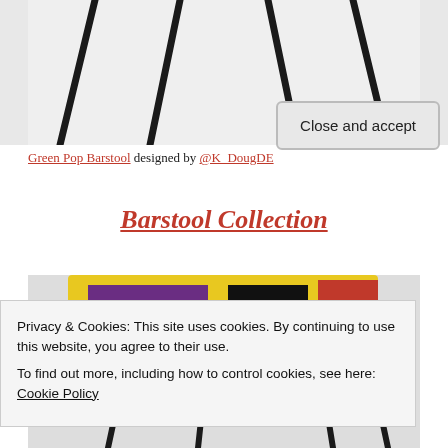[Figure (photo): Partial view of a barstool showing thin black metal legs against a light gray/white background, cropped at the top.]
Green Pop Barstool designed by @K_DougDE
Barstool Collection
[Figure (photo): Partial view of a colorful barstool design, bottom portion visible with yellow, purple, and black colors.]
Privacy & Cookies: This site uses cookies. By continuing to use this website, you agree to their use.
To find out more, including how to control cookies, see here: Cookie Policy
Close and accept